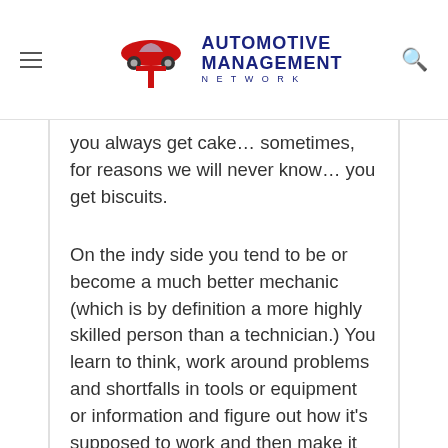Automotive Management Network
you always get cake… sometimes, for reasons we will never know… you get biscuits.
On the indy side you tend to be or become a much better mechanic (which is by definition a more highly skilled person than a technician.)  You learn to think, work around problems and shortfalls in tools or equipment or information and figure out how it's supposed to work and then make it work, whether it wants to or not.  You'll spend more on personal tools and in my opinion you have to be the kind of person who loves a challenge.  Of the two paths, in my experience, you'll